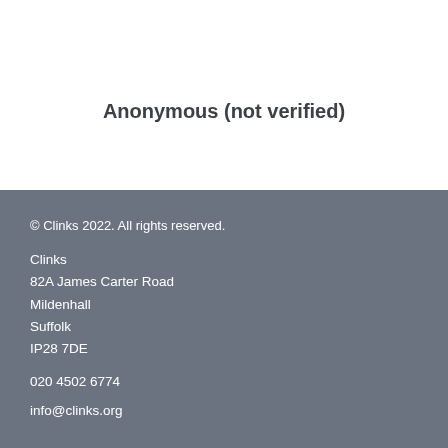Anonymous (not verified)
© Clinks 2022. All rights reserved.

Clinks
82A James Carter Road
Mildenhall
Suffolk
IP28 7DE

020 4502 6774

info@clinks.org